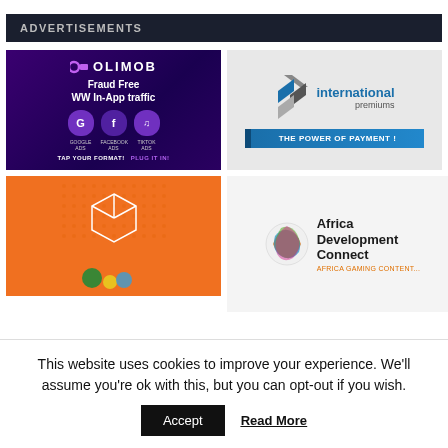ADVERTISEMENTS
[Figure (illustration): Olimob ad: Fraud Free WW In-App traffic with Google Ads, Facebook Ads, TikTok Ads icons. Purple background. TAP YOUR FORMAT! PLUG IT IN!]
[Figure (logo): International premiums logo with blue geometric shapes. THE POWER OF PAYMENT! banner.]
[Figure (illustration): Orange background ad with white cube outline and colorful circles.]
[Figure (logo): Africa Development Connect logo with colorful braided ball and text.]
This website uses cookies to improve your experience. We'll assume you're ok with this, but you can opt-out if you wish.
Accept
Read More